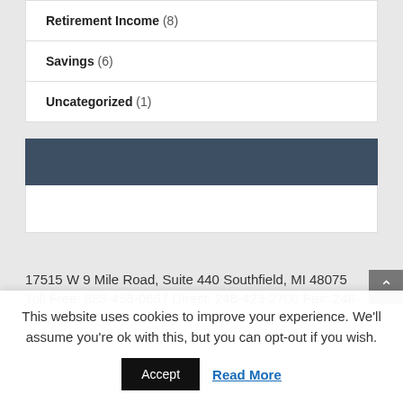Retirement Income (8)
Savings (6)
Uncategorized (1)
17515 W 9 Mile Road, Suite 440 Southfield, MI 48075 Toll Free: 888-458-0667 Direct: 248-423-2700 Fax: 248-
This website uses cookies to improve your experience. We'll assume you're ok with this, but you can opt-out if you wish. Accept Read More